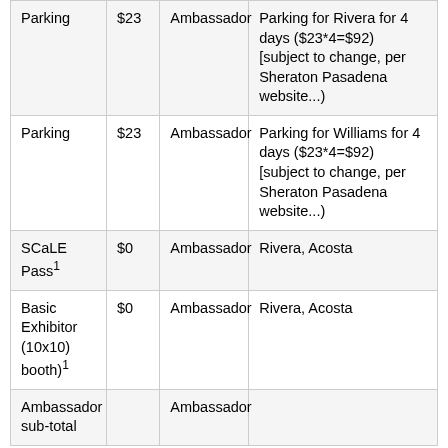| Parking | $23 | Ambassador | Parking for Rivera for 4 days ($23*4=$92) [subject to change, per Sheraton Pasadena website...) |
| Parking | $23 | Ambassador | Parking for Williams for 4 days ($23*4=$92) [subject to change, per Sheraton Pasadena website...) |
| SCaLE Pass¹ | $0 | Ambassador | Rivera, Acosta |
| Basic Exhibitor (10x10) booth)¹ | $0 | Ambassador | Rivera, Acosta |
| Ambassador sub-total |  | Ambassador |  |
¹SCaLE will be providing these as part of a community-sponsored package.